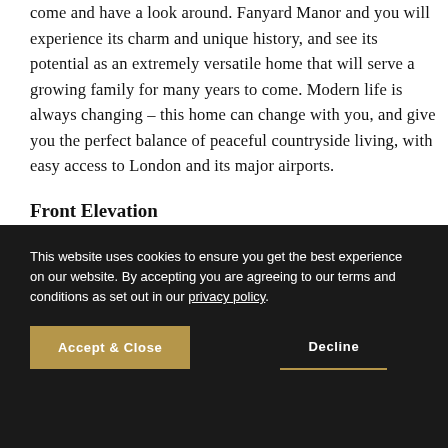come and have a look around. Fanyard Manor and you will experience its charm and unique history, and see its potential as an extremely versatile home that will serve a growing family for many years to come. Modern life is always changing – this home can change with you, and give you the perfect balance of peaceful countryside living, with easy access to London and its major airports.
Front Elevation
This website uses cookies to ensure you get the best experience on our website. By accepting you are agreeing to our terms and conditions as set out in our privacy policy.